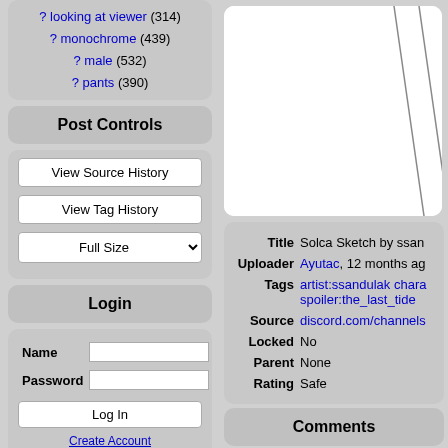? looking at viewer (314)
? monochrome (439)
? male (532)
? pants (390)
Post Controls
View Source History
View Tag History
Full Size
Login
Name
Password
Log In
Create Account
[Figure (illustration): Sketch image panel showing a monochrome line drawing (partial view)]
| Field | Value |
| --- | --- |
| Title | Solca Sketch by ssan |
| Uploader | Ayutac, 12 months ag |
| Tags | artist:ssandulak chara spoiler:the_last_tide |
| Source | discord.com/channels |
| Locked | No |
| Parent | None |
| Rating | Safe |
Comments